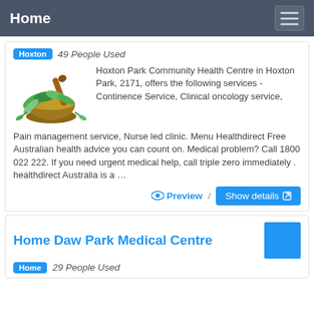Home
Hoxton 49 People Used
[Figure (photo): Mortar and pestle with green herbs/leaves, illustrating herbal/alternative medicine]
Hoxton Park Community Health Centre in Hoxton Park, 2171, offers the following services - Continence Service, Clinical oncology service, Pain management service, Nurse led clinic. Menu Healthdirect Free Australian health advice you can count on. Medical problem? Call 1800 022 222. If you need urgent medical help, call triple zero immediately . healthdirect Australia is a …
Preview / Show details
Home Daw Park Medical Centre
Home 29 People Used